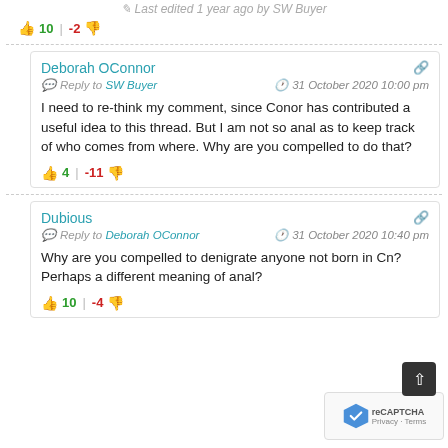Last edited 1 year ago by SW Buyer
10 | -2
Deborah OConnor
Reply to SW Buyer  31 October 2020 10:00 pm
I need to re-think my comment, since Conor has contributed a useful idea to this thread. But I am not so anal as to keep track of who comes from where. Why are you compelled to do that?
4 | -11
Dubious
Reply to Deborah OConnor  31 October 2020 10:40 pm
Why are you compelled to denigrate anyone not born in C...n? Perhaps a different meaning of anal?
10 | -4